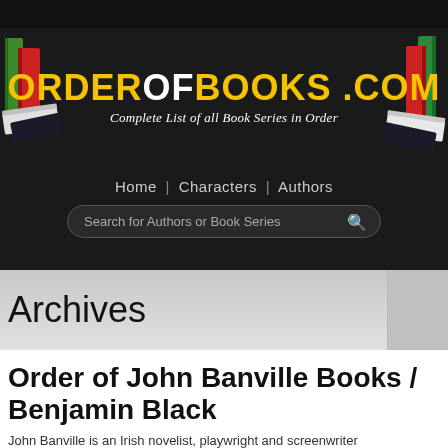[Figure (logo): OrderOfBooks.com website header banner with logo, stacked books illustrations on left and right, site title 'ORDEROFBOOKS.COM' in yellow/white bold text, subtitle 'Complete List of all Book Series in Order']
Home | Characters | Authors
Search for Authors or Book Series
Archives
Order of John Banville Books / Benjamin Black
John Banville is an Irish novelist, playwright and screenwriter